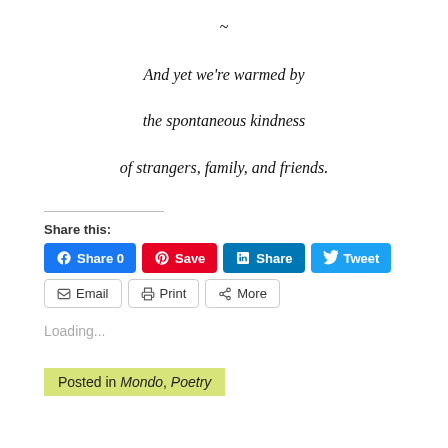~
And yet we're warmed by
the spontaneous kindness
of strangers, family, and friends.
Share this:
[Figure (other): Social share buttons: Facebook Share 0, Pinterest Save, LinkedIn Share, Twitter Tweet, Email, Print, More]
Loading...
Posted in Mondo, Poetry